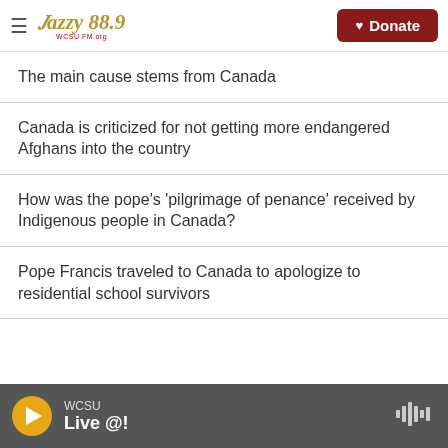Jazzy 88.9 WCSU | Donate
The main cause stems from Canada
Canada is criticized for not getting more endangered Afghans into the country
How was the pope's 'pilgrimage of penance' received by Indigenous people in Canada?
Pope Francis traveled to Canada to apologize to residential school survivors
WCSU Live @!